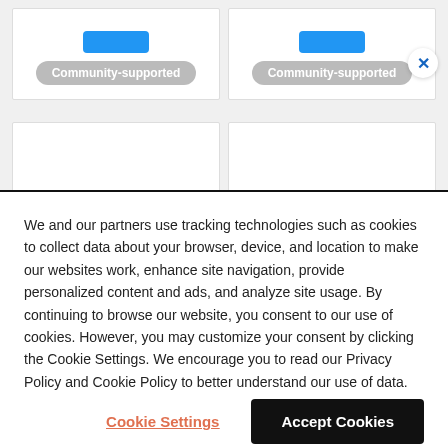[Figure (screenshot): Two product cards at top each showing a blue button and a 'Community-supported' gray pill badge, with an X close button on the right side]
[Figure (logo): Autopilot logo with two horizontal lines and 'autopilot' text]
[Figure (logo): Autopilot Activities logo with two horizontal lines, 'autopilot' text, and 'ACTIVITIES' subtitle]
We and our partners use tracking technologies such as cookies to collect data about your browser, device, and location to make our websites work, enhance site navigation, provide personalized content and ads, and analyze site usage. By continuing to browse our website, you consent to our use of cookies. However, you may customize your consent by clicking the Cookie Settings. We encourage you to read our Privacy Policy and Cookie Policy to better understand our use of data.
Cookie Settings
Accept Cookies